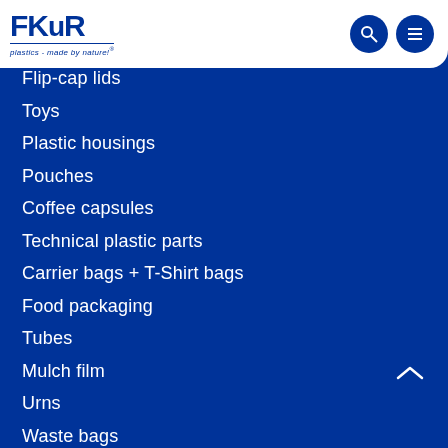FKuR — plastics - made by nature!®
Flip-cap lids
Toys
Plastic housings
Pouches
Coffee capsules
Technical plastic parts
Carrier bags + T-Shirt bags
Food packaging
Tubes
Mulch film
Urns
Waste bags
Storage boxes
Nettings
About us